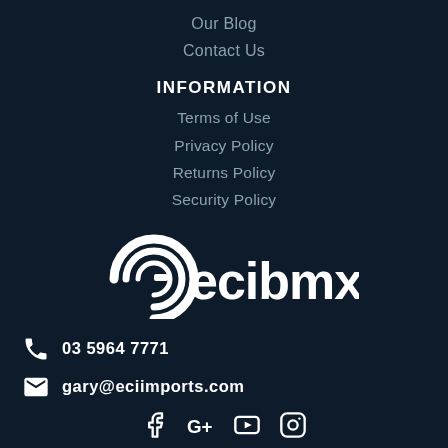Our Blog
Contact Us
INFORMATION
Terms of Use
Privacy Policy
Returns Policy
Security Policy
[Figure (logo): ecibmx logo in white on dark background]
03 5964 7771
gary@eciimports.com
[Figure (illustration): Social media icons: Facebook, Google+, YouTube, Instagram]